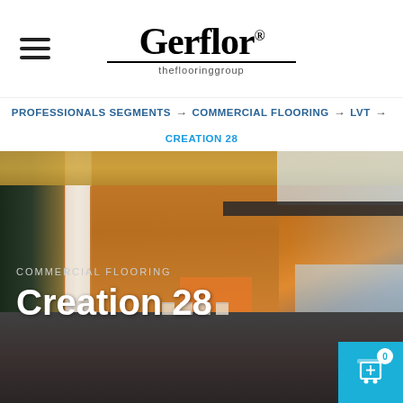[Figure (logo): Gerflor theflooringgroup logo with hamburger menu icon on the left]
PROFESSIONALS SEGMENTS → COMMERCIAL FLOORING → LVT → CREATION 28
[Figure (photo): Interior commercial building lobby with wood-paneled walls, white structural column, dark flooring, glass railings and a reception area in background. Overlaid text reads 'COMMERCIAL FLOORING' and 'Creation 28']